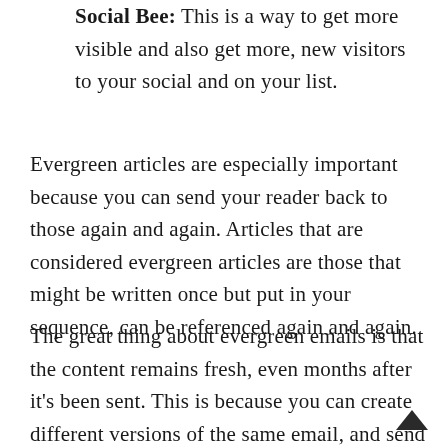Social Bee: This is a way to get more visible and also get more, new visitors to your social and on your list.
Evergreen articles are especially important because you can send your reader back to those again and again. Articles that are considered evergreen articles are those that might be written once but put in your sequence, can be referenced again and again.
The great thing about evergreen emails is that the content remains fresh, even months after it's been sent. This is because you can create different versions of the same email, and send